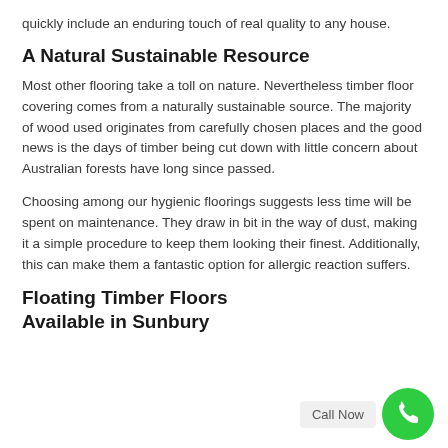quickly include an enduring touch of real quality to any house.
A Natural Sustainable Resource
Most other flooring take a toll on nature. Nevertheless timber floor covering comes from a naturally sustainable source. The majority of wood used originates from carefully chosen places and the good news is the days of timber being cut down with little concern about Australian forests have long since passed.
Choosing among our hygienic floorings suggests less time will be spent on maintenance. They draw in bit in the way of dust, making it a simple procedure to keep them looking their finest. Additionally, this can make them a fantastic option for allergic reaction suffers.
Floating Timber Floors Available in Sunbury